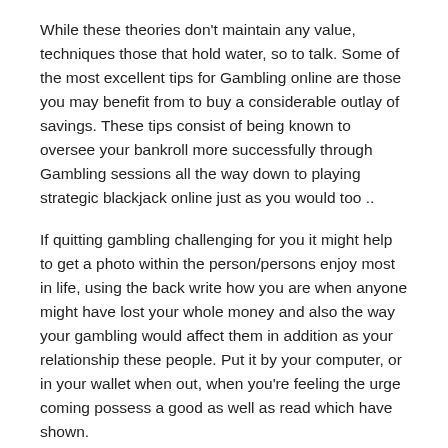While these theories don't maintain any value, techniques those that hold water, so to talk. Some of the most excellent tips for Gambling online are those you may benefit from to buy a considerable outlay of savings. These tips consist of being known to oversee your bankroll more successfully through Gambling sessions all the way down to playing strategic blackjack online just as you would too ..
If quitting gambling challenging for you it might help to get a photo within the person/persons enjoy most in life, using the back write how you are when anyone might have lost your whole money and also the way your gambling would affect them in addition as your relationship these people. Put it by your computer, or in your wallet when out, when you're feeling the urge coming possess a good as well as read which have shown.
[Figure (other): Chat widget button — black circle with chat/message icon, and 'Need Help?' label text]
It hoped these indicators help you to identify whether or even otherwise you possess a casino gambling problem. It takes